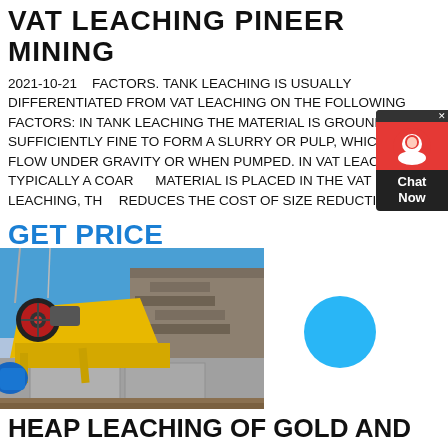VAT LEACHING PINEER MINING
2021-10-21    FACTORS. TANK LEACHING IS USUALLY DIFFERENTIATED FROM VAT LEACHING ON THE FOLLOWING FACTORS: IN TANK LEACHING THE MATERIAL IS GROUND SUFFICIENTLY FINE TO FORM A SLURRY OR PULP, WHICH CAN FLOW UNDER GRAVITY OR WHEN PUMPED. IN VAT LEACHING TYPICALLY A COARSE MATERIAL IS PLACED IN THE VAT FOR LEACHING, THIS REDUCES THE COST OF SIZE REDUCTION;
GET PRICE
[Figure (photo): Yellow mining jaw crusher equipment placed outdoors on concrete blocks with a stone wall in the background and blue sky]
HEAP LEACHING OF GOLD AND